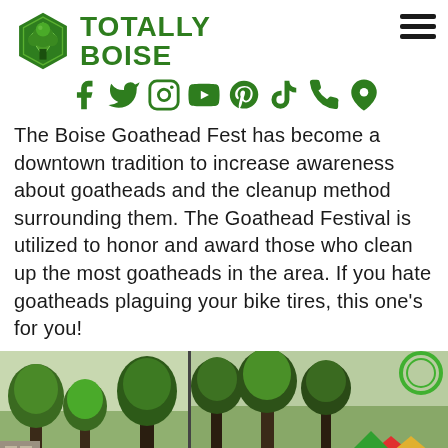[Figure (logo): Totally Boise logo with green hexagonal tree icon and bold green text reading TOTALLY BOISE, plus social media icons (Facebook, Twitter, Instagram, YouTube, Pinterest, TikTok, Phone, Location) in green, and a hamburger menu icon top right]
The Boise Goathead Fest has become a downtown tradition to increase awareness about goatheads and the cleanup method surrounding them. The Goathead Festival is utilized to honor and award those who clean up the most goatheads in the area. If you hate goatheads plaguing your bike tires, this one’s for you!
[Figure (photo): Two outdoor photos side by side showing trees and a colorful scene, likely from the Goathead Fest event]